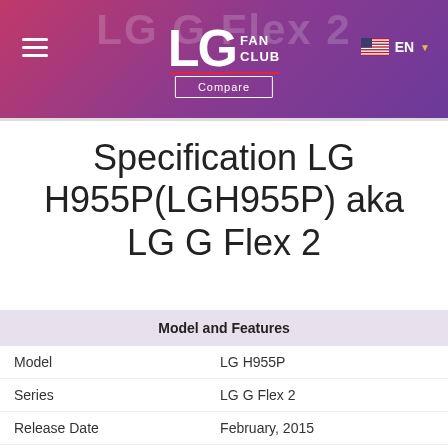LG Fan Club — LG G Flex 2 — EN
Specification LG H955P(LGH955P) aka LG G Flex 2
| Model and Features |  |
| --- | --- |
| Model | LG H955P |
| Series | LG G Flex 2 |
| Release Date | February, 2015 |
| Depth | 9.4 mm (0.37 in) |
| Size (width x height) | 149.1 x 75.3 mm (5.87 x 2.96 in) |